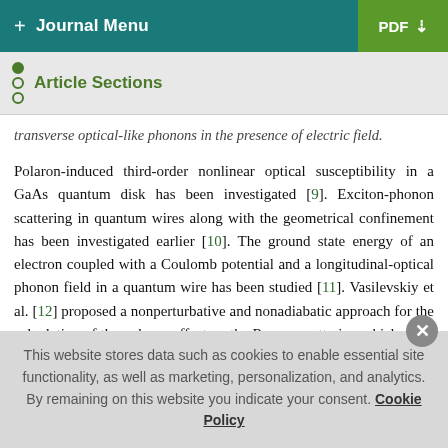+ Journal Menu | PDF ↓
Article Sections
transverse optical-like phonons in the presence of electric field.
Polaron-induced third-order nonlinear optical susceptibility in a GaAs quantum disk has been investigated [9]. Exciton-phonon scattering in quantum wires along with the geometrical confinement has been investigated earlier [10]. The ground state energy of an electron coupled with a Coulomb potential and a longitudinal-optical phonon field in a quantum wire has been studied [11]. Vasilevskiy et al. [12] proposed a nonperturbative and nonadiabatic approach for the calculation of the polaron effect on the Raman scattering which gives information about single particle excitations.
This website stores data such as cookies to enable essential site functionality, as well as marketing, personalization, and analytics. By remaining on this website you indicate your consent. Cookie Policy